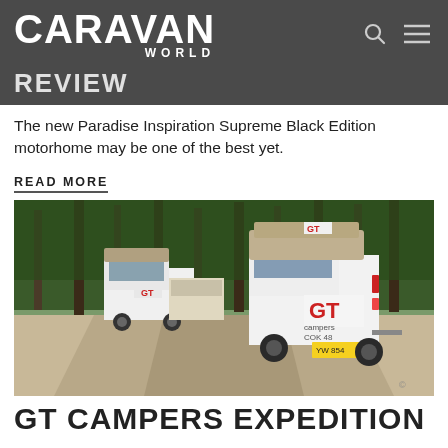CARAVAN WORLD
REVIEW
The new Paradise Inspiration Supreme Black Edition motorhome may be one of the best yet.
READ MORE
[Figure (photo): Two white GT Campers vehicles on a dirt road surrounded by forest, viewed from behind. The nearer vehicle shows 'GT campers COK 48' branding. Both vehicles carry camping equipment/tent rolls on top.]
GT CAMPERS EXPEDITION